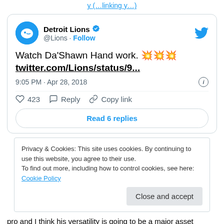(link)
[Figure (screenshot): Detroit Lions verified Twitter/X account tweet: 'Watch Da'Shawn Hand work. 💥💥💥 twitter.com/Lions/status/9...' posted at 9:05 PM · Apr 28, 2018, with 423 likes, Reply, Copy link actions and a Read 6 replies button.]
Privacy & Cookies: This site uses cookies. By continuing to use this website, you agree to their use. To find out more, including how to control cookies, see here: Cookie Policy
pro and I think his versatility is going to be a major asset